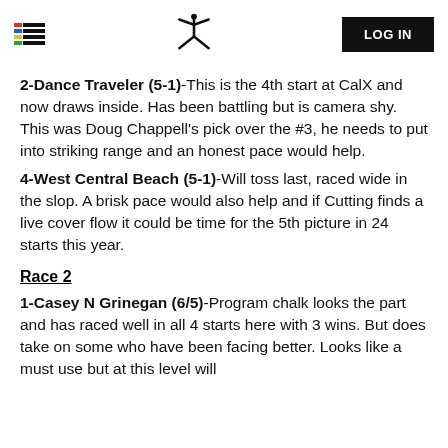LOG IN
2-Dance Traveler (5-1)-This is the 4th start at CalX and now draws inside. Has been battling but is camera shy. This was Doug Chappell's pick over the #3, he needs to put into striking range and an honest pace would help.
4-West Central Beach (5-1)-Will toss last, raced wide in the slop. A brisk pace would also help and if Cutting finds a live cover flow it could be time for the 5th picture in 24 starts this year.
Race 2
1-Casey N Grinegan (6/5)-Program chalk looks the part and has raced well in all 4 starts here with 3 wins. But does take on some who have been facing better. Looks like a must use but at this level will